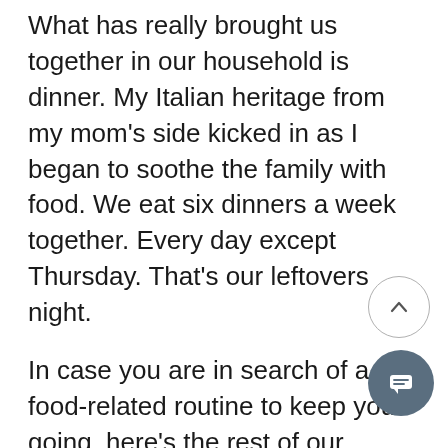What has really brought us together in our household is dinner. My Italian heritage from my mom's side kicked in as I began to soothe the family with food. We eat six dinners a week together. Every day except Thursday. That's our leftovers night.
In case you are in search of a food-related routine to keep you going, here's the rest of our pandemic dinner routine:
Friday is pizza night. Always was. Always will be. Hubby and I absolutely love having two of our three boys back under the roof for pizza Friday again, even if it was the